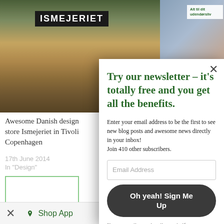[Figure (photo): Photo of Ismejeriet store front with dark sign showing 'ISMEJERIET' in white letters, colorful building facade]
[Figure (photo): Partial photo of outdoor store with green sign reading 'Alt til dit udendørsliv']
Awesome Danish design store Ismejeriet in Tivoli Copenhagen
17th June 2014
In "Design"
[Figure (photo): Thumbnail image placeholder with green border]
Porn Star parking sign
17th January 2013
In "Various"
Try our newsletter – it's totally free and you get all the benefits.
Enter your email address to be the first to see new blog posts and awesome news directly in your inbox!
Join 410 other subscribers.
Email Address
Oh yeah! Sign Me Up
You can easily unsubscribe again if you want.
× Shop App